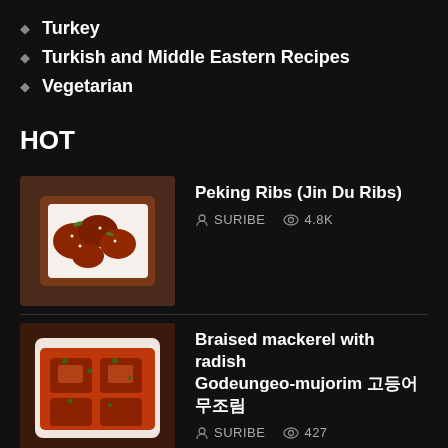Turkey
Turkish and Middle Eastern Recipes
Vegetarian
HOT
[Figure (photo): Photo of Peking Ribs (Jin Du Ribs) in a white bowl]
Peking Ribs (Jin Du Ribs)
SURIBE  4.8K
[Figure (photo): Photo of Braised mackerel with radish Godeungeo-mujorim in a white dish]
Braised mackerel with radish Godeungeo-mujorim 고등어무조림
SURIBE  427